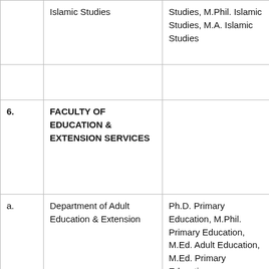|  | Islamic Studies | Studies, M.Phil. Islamic Studies, M.A. Islamic Studies |
|  |  |  |
| 6. | FACULTY OF EDUCATION & EXTENSION SERVICES |  |
| a. | Department of Adult Education & Extension | Ph.D. Primary Education, M.Phil. Primary Education, M.Ed. Adult Education, M.Ed. Primary Education |
|  |  |  |
|  |  |  |